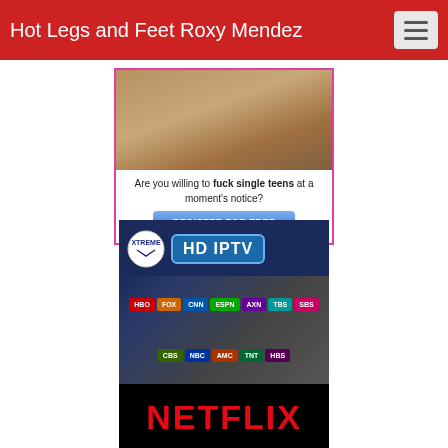Hot Legs and Feet Roxy Mendez
[Figure (other): Advertisement banner with image and text 'Are you willing to fuck single teens at a moment's notice?' and a blue 'REGISTER FOR FREE' button, bordered in pink]
[Figure (other): Xtreme HD IPTV advertisement showing streaming service logos including HBO, FOX, AXN, Netflix, and others on a dark blue background with Netflix text at bottom]